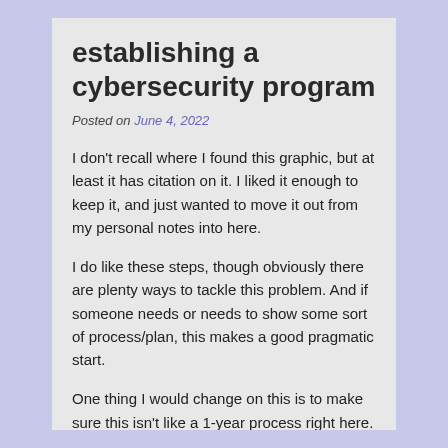establishing a cybersecurity program
Posted on June 4, 2022
I don't recall where I found this graphic, but at least it has citation on it. I liked it enough to keep it, and just wanted to move it out from my personal notes into here.
I do like these steps, though obviously there are plenty ways to tackle this problem. And if someone needs or needs to show some sort of process/plan, this makes a good pragmatic start.
One thing I would change on this is to make sure this isn't like a 1-year process right here. I feel like steps need to be taken pretty quickly to start *doing* something and getting some output and value. For example, Step 7 shouldn't be waiting for earlier steps to develop. Step 7 should strive to start as soon as positive movement can be achieved.